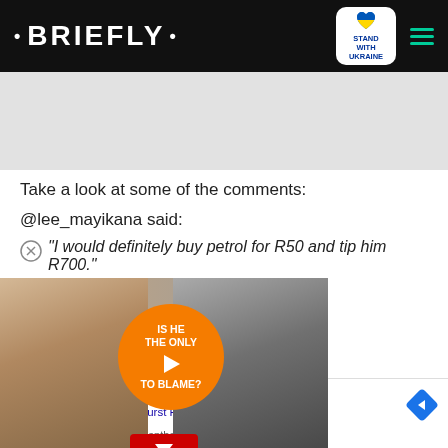• BRIEFLY •
Take a look at some of the comments:
@lee_mayikana said:
"I would definitely buy petrol for R50 and tip him R700."
[Figure (screenshot): Video overlay with two people and an orange circle with text 'IS HE THE ONLY ONE TO BLAME?' and a play button. A red down-arrow button is visible at the bottom.]
yday, damn those were some
[Figure (screenshot): Advertisement for Liva Auto in Ashburn showing store details: OPEN 7:30AM-6PM, 43781 Parkhurst Plaza, Ashburn. Partially visible text: Up To $110 Off...]